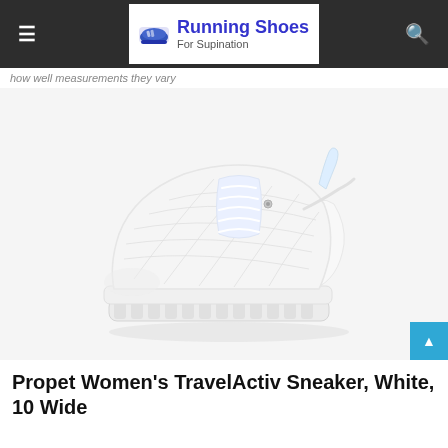Running Shoes For Supination
how well measurements they vary
[Figure (photo): White Propet Women's TravelActiv Sneaker shown from a 3/4 angle on a white background. The shoe features white mesh upper, white laces, and a white sole with textured tread.]
Propet Women's TravelActiv Sneaker, White, 10 Wide